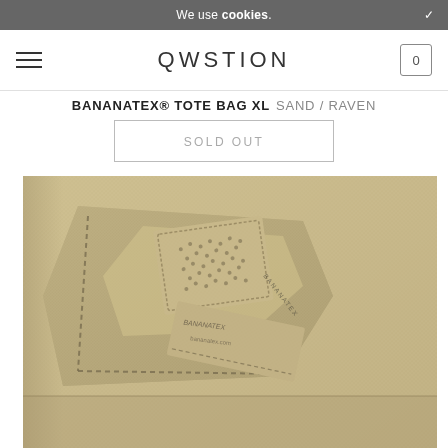We use cookies.
QWSTION
BANANATEX® TOTE BAG XL SAND / RAVEN
SOLD OUT
[Figure (photo): Close-up photo of a sand/tan colored Bananatex fabric tote bag, showing the woven texture and a stitched label on a folded corner of the bag.]